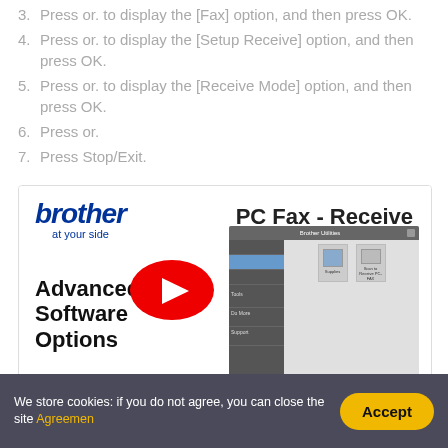3. Press or. to display the [Fax] option, and then press OK.
4. Press or. to display the [Setup Receive] option, and then press OK.
5. Press or. to display the [Receive Mode] option, and then press OK.
6. Press or.
7. Press Stop/Exit.
[Figure (screenshot): Brother 'PC Fax - Receive' video thumbnail showing Brother logo, 'Advanced Software Options' text, YouTube play button, and Brother Utilities software screenshot]
We store cookies: if you do not agree, you can close the site Agreemen
Accept